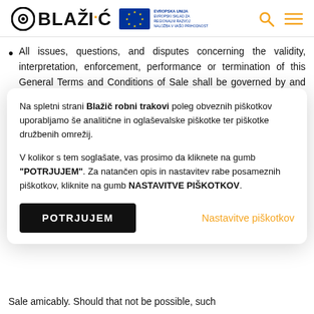BLAŽIĆ [logo with EU logo, search and menu icons]
All issues, questions, and disputes concerning the validity, interpretation, enforcement, performance or termination of this General Terms and Conditions of Sale shall be governed by and construed in accordance with the laws of the Republic of Slovenia, without
Na spletni strani Blažič robni trakovi poleg obveznih piškotkov uporabljamo še analitične in oglaševalske piškotke ter piškotke družbenih omrežij.

V kolikor s tem soglašate, vas prosimo da kliknete na gumb "POTRJUJEM". Za natančen opis in nastavitev rabe posameznih piškotkov, kliknite na gumb NASTAVITVE PIŠKOTKOV.
Sale amicably. Should that not be possible, such